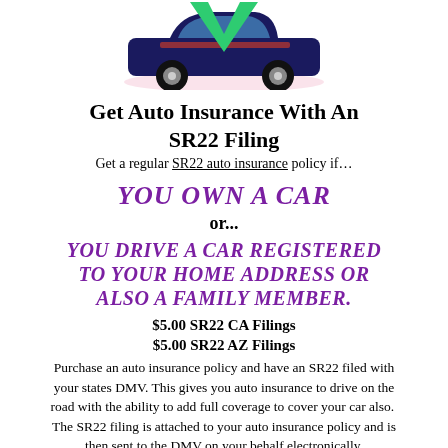[Figure (illustration): Illustration of a dark blue car with a large green checkmark/arrow above it and a pink shadow underneath, viewed from the front-left angle.]
Get Auto Insurance With An SR22 Filing
Get a regular SR22 auto insurance policy if…
YOU OWN A CAR
or...
YOU DRIVE A CAR REGISTERED TO YOUR HOME ADDRESS OR ALSO A FAMILY MEMBER.
$5.00 SR22 CA Filings
$5.00 SR22 AZ Filings
Purchase an auto insurance policy and have an SR22 filed with your states DMV. This gives you auto insurance to drive on the road with the ability to add full coverage to cover your car also.  The SR22 filing is attached to your auto insurance policy and is then sent to the DMV on your behalf electronically.